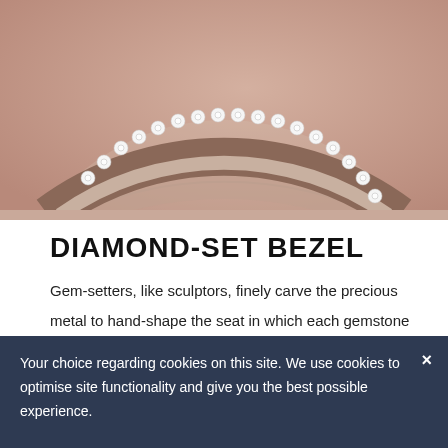[Figure (photo): Close-up photo of a luxury watch bezel with diamonds set in a circular arc on a rose gold/pink background]
DIAMOND-SET BEZEL
Gem-setters, like sculptors, finely carve the precious metal to hand-shape the seat in which each gemstone will be perfectly lodged. With the art and craft of a jeweler, the stone is placed and meticulously aligned
Your choice regarding cookies on this site. We use cookies to optimise site functionality and give you the best possible experience.